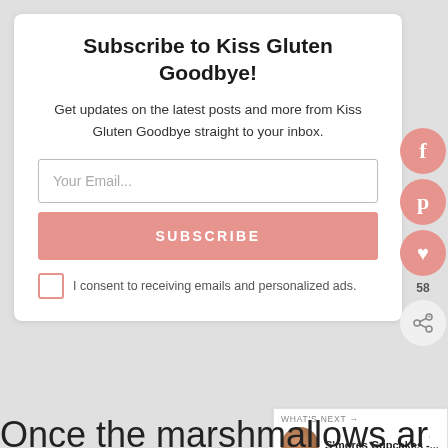Subscribe to Kiss Gluten Goodbye!
Get updates on the latest posts and more from Kiss Gluten Goodbye straight to your inbox.
Your Email...
SUBSCRIBE
I consent to receiving emails and personalized ads.
[Figure (other): Social media sidebar icons: Facebook, Pinterest, heart/save, and share button with count 58]
WHAT'S NEXT → S'mores Cupcakes -....
Once the marshmallows are
[Figure (other): Advertisement banner: AmTrust Insurors - Your Partner in Virginia with a map graphic and GET STARTED button]